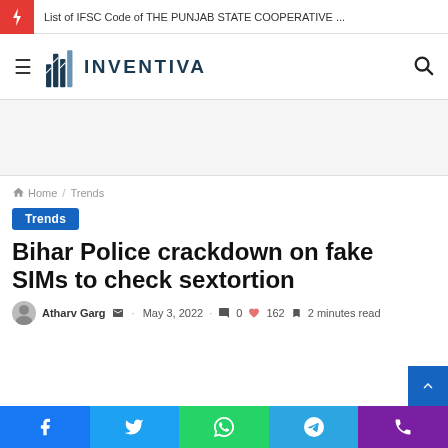List of IFSC Code of THE PUNJAB STATE COOPERATIVE ...
[Figure (logo): Inventiva logo with stylized bar chart icon and text INVENTIVA]
[Figure (other): Advertisement / empty ad space]
Home / Trends
Trends
Bihar Police crackdown on fake SIMs to check sextortion
Atharv Garg  ·  May 3, 2022  💬 0  🔥 162  🔖 2 minutes read